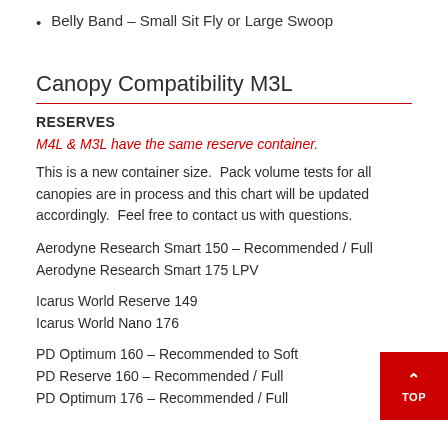Belly Band – Small Sit Fly or Large Swoop
Canopy Compatibility M3L
RESERVES
M4L & M3L have the same reserve container.
This is a new container size.  Pack volume tests for all canopies are in process and this chart will be updated accordingly.  Feel free to contact us with questions.
Aerodyne Research Smart 150 – Recommended / Full
Aerodyne Research Smart 175 LPV
Icarus World Reserve 149
Icarus World Nano 176
PD Optimum 160 – Recommended to Soft
PD Reserve 160 – Recommended / Full
PD Optimum 176 – Recommended / Full